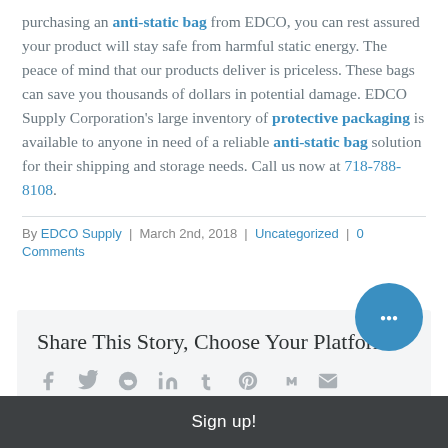purchasing an anti-static bag from EDCO, you can rest assured your product will stay safe from harmful static energy. The peace of mind that our products deliver is priceless. These bags can save you thousands of dollars in potential damage. EDCO Supply Corporation's large inventory of protective packaging is available to anyone in need of a reliable anti-static bag solution for their shipping and storage needs. Call us now at 718-788-8108.
By EDCO Supply | March 2nd, 2018 | Uncategorized | 0 Comments
Share This Story, Choose Your Platform!
[Figure (other): Social sharing icons: Facebook, Twitter, Reddit, LinkedIn, Tumblr, Pinterest, VK, Email]
Sign up!